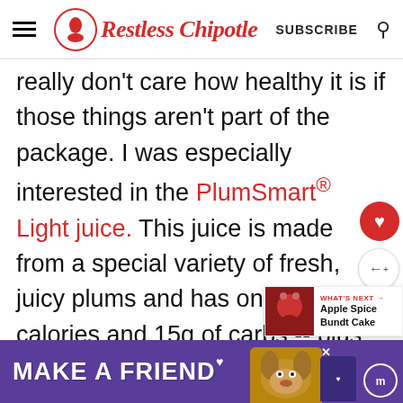Restless Chipotle | SUBSCRIBE
really don't care how healthy it is if those things aren't part of the package. I was especially interested in the PlumSmart® Light juice. This juice is made from a special variety of fresh, juicy plums and has only 60 calories and 15g of carbs -- plus it's a good source of fiber. I wondered how it would...
[Figure (other): What's Next promotional box showing Apple Spice Bundt Cake]
[Figure (other): Advertisement banner reading MAKE A FRIEND with dog image on purple background]